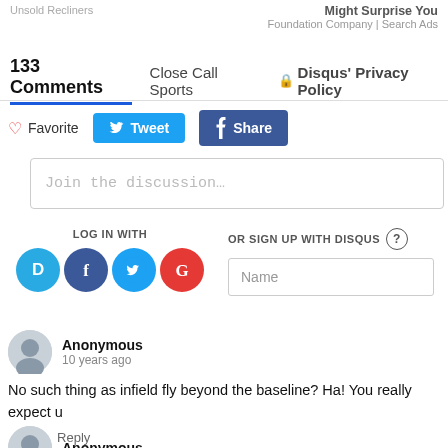Unsold Recliners | Might Surprise You
Foundation Company | Search Ads
133 Comments   Close Call Sports   🔒 Disqus' Privacy Policy
♡ Favorite   Tweet   Share
Join the discussion…
LOG IN WITH
[Figure (other): Login icons: Disqus (D), Facebook (f), Twitter bird, Google (G)]
OR SIGN UP WITH DISQUS ?
Name
Anonymous
10 years ago
No such thing as infield fly beyond the baseline? Ha! You really expect u
↑ | ↓   Reply
Anonymous